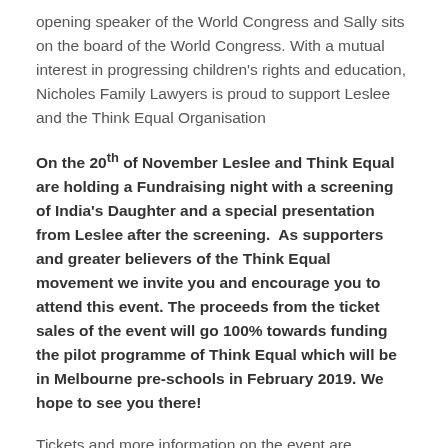opening speaker of the World Congress and Sally sits on the board of the World Congress. With a mutual interest in progressing children's rights and education, Nicholes Family Lawyers is proud to support Leslee and the Think Equal Organisation
On the 20th of November Leslee and Think Equal are holding a Fundraising night with a screening of India's Daughter and a special presentation from Leslee after the screening. As supporters and greater believers of the Think Equal movement we invite you and encourage you to attend this event. The proceeds from the ticket sales of the event will go 100% towards funding the pilot programme of Think Equal which will be in Melbourne pre-schools in February 2019. We hope to see you there!
Tickets and more information on the event are available here: www.trybooking.com...